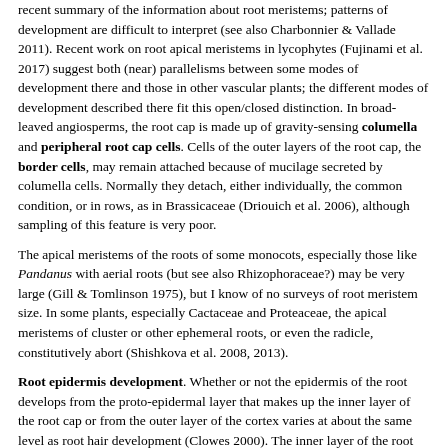recent summary of the information about root meristems; patterns of development are difficult to interpret (see also Charbonnier & Vallade 2011). Recent work on root apical meristems in lycophytes (Fujinami et al. 2017) suggest both (near) parallelisms between some modes of development there and those in other vascular plants; the different modes of development described there fit this open/closed distinction. In broad-leaved angiosperms, the root cap is made up of gravity-sensing columella and peripheral root cap cells. Cells of the outer layers of the root cap, the border cells, may remain attached because of mucilage secreted by columella cells. Normally they detach, either individually, the common condition, or in rows, as in Brassicaceae (Driouich et al. 2006), although sampling of this feature is very poor.
The apical meristems of the roots of some monocots, especially those like Pandanus with aerial roots (but see also Rhizophoraceae?) may be very large (Gill & Tomlinson 1975), but I know of no surveys of root meristem size. In some plants, especially Cactaceae and Proteaceae, the apical meristems of cluster or other ephemeral roots, or even the radicle, constitutively abort (Shishkova et al. 2008, 2013).
Root epidermis development. Whether or not the epidermis of the root develops from the proto-epidermal layer that makes up the inner layer of the root cap or from the outer layer of the cortex varies at about the same level as root hair development (Clowes 2000). The inner layer of the root cap is lost completely in monocots (and Nymphaeaceae), the epidermis then developing from the cortex, although the inner layer of the root cap remains attached in broad-leaved angiosperms (van Tieghem & Douliot 1888).
Root hair development quite often occurs in epidermal cells that are just like cells that do not have hairs, that is, there are no distinctive trichoblasts